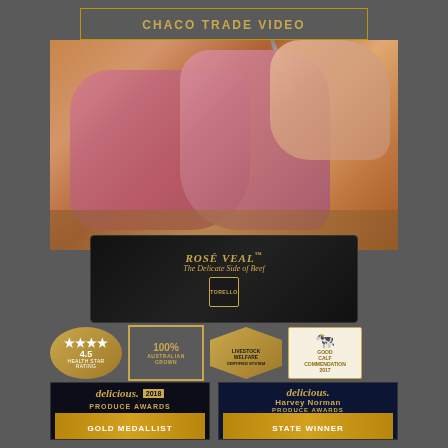CHACO TRADE VIDEO
[Figure (photo): Raw veal cuts on a wooden chopping board with a hand holding the meat, and a Torello Rose Veal product box below. Badges showing 4.5 Health Star Rating, 100% Australian Grown, Livestock Welfare Certified, and Good Calf Commendation 2017.]
[Figure (logo): delicious. Produce Awards 2018 Gold Medallist badge]
[Figure (logo): delicious. Harvey Norman Produce Awards State Winner badge]